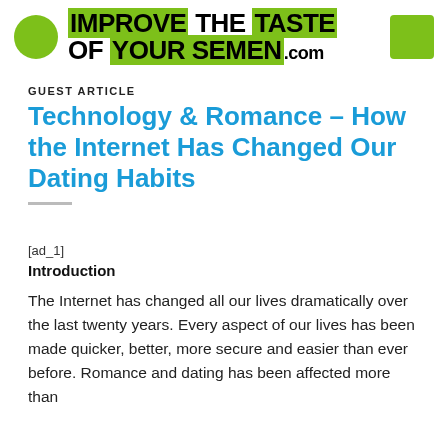IMPROVE THE TASTE OF YOUR SEMEN.com
GUEST ARTICLE
Technology & Romance – How the Internet Has Changed Our Dating Habits
[ad_1]
Introduction
The Internet has changed all our lives dramatically over the last twenty years. Every aspect of our lives has been made quicker, better, more secure and easier than ever before. Romance and dating has been affected more than